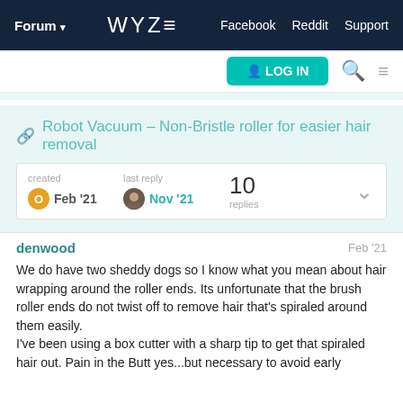Forum ▾   WYZE   Facebook  Reddit  Support
Robot Vacuum – Non-Bristle roller for easier hair removal
created Feb '21   last reply Nov '21   10 replies
denwood   Feb '21
We do have two sheddy dogs so I know what you mean about hair wrapping around the roller ends. Its unfortunate that the brush roller ends do not twist off to remove hair that's spiraled around them easily.
I've been using a box cutter with a sharp tip to get that spiraled hair out. Pain in the Butt yes...but necessary to avoid early straining the motor with those hairs...